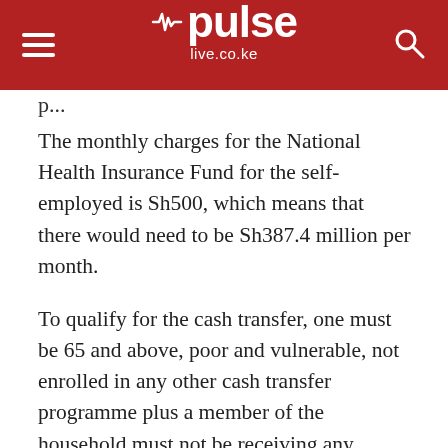pulse live.co.ke
The monthly charges for the National Health Insurance Fund for the self-employed is Sh500, which means that there would need to be Sh387.4 million per month.
To qualify for the cash transfer, one must be 65 and above, poor and vulnerable, not enrolled in any other cash transfer programme plus a member of the household must not be receiving any pension or regular income or in any gainful employment.
Speaking after the Budget Statement on Thursday, Central Bank Governor Patrick Njoroge described the plan as one of the bold proposals from Treasury.
“You don’t put in place a policy like that without thinking